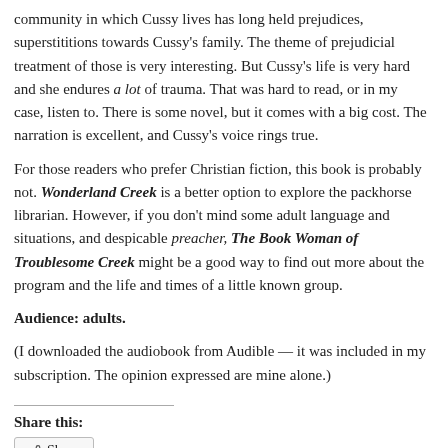community in which Cussy lives has long held prejudices, superstitions towards Cussy's family. The theme of prejudicial treatment of those is very interesting. But Cussy's life is very hard and she endures a lot of trauma. That was hard to read, or in my case, listen to. There is some novel, but it comes with a big cost. The narration is excellent, and Cussy's voice rings true.
For those readers who prefer Christian fiction, this book is probably not. Wonderland Creek is a better option to explore the packhorse librarian. However, if you don't mind some adult language and situations, and a despicable preacher, The Book Woman of Troublesome Creek might be a good way to find out more about the program and the life and times of a little known group.
Audience: adults.
(I downloaded the audiobook from Audible — it was included in my subscription. The opinion expressed are mine alone.)
Share this:
Share